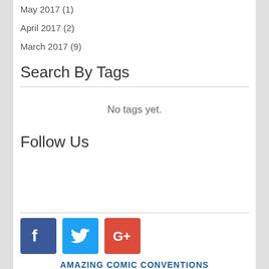May 2017 (1)
April 2017 (2)
March 2017 (9)
Search By Tags
No tags yet.
Follow Us
[Figure (other): Social media icons: Facebook, Twitter, Google+]
AMAZING COMIC CONVENTIONS